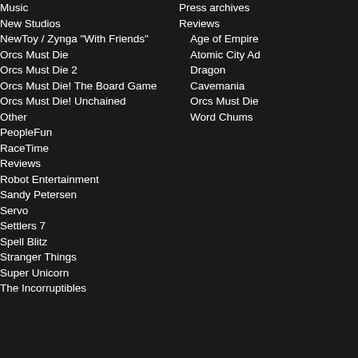Music
New Studios
NewToy / Zynga "With Friends"
Orcs Must Die
Orcs Must Die 2
Orcs Must Die! The Board Game
Orcs Must Die! Unchained
Other
PeopleFun
RaceTime
Reviews
Robot Entertainment
Sandy Petersen
Servo
Settlers 7
Spell Blitz
Stranger Things
Super Unicorn
The Incorruptibles
Press archives
Reviews
Age of Empire
Atomic City Ad
Dragon
Cavemania
Orcs Must Die
Word Chums